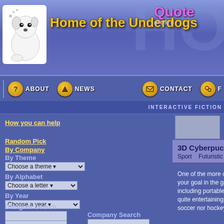[Figure (screenshot): Home of the Underdogs website header with dog mascot logo and yellow title text]
Home of the Underdogs | Quote of the ...
[Figure (screenshot): Navigation bar with About, News, Contact buttons]
INTERACTIVE FICTION
How you can help
Random Pick
By Company
By Theme
Choose a theme
By Alphabet
Choose a letter
By Year
Choose a year
Title Search
Company Search
Designer Search
3D Cyberpuck (a.k.a. Ball Blaster) Collection: Sport Futuristic
One of the more obscure shareware titles by Web... that utilizes good 3D graphics and fluid controls. B... your goal in the game is to maintain control over t... makes the game a lot of fun are the many cool ite... including portable walls, gravity wells, boosters, la... site, of course) includes network play and many m... quite entertaining game, if a bit lacking in long-ter... extensive player records. If you like futuristic, unic... soccer nor hockey, and have no penchant for arc... sharp eyesight, play something else :)
Reviewed by: Underdogs
| Field | Value |
| --- | --- |
| Designer: | Unknown |